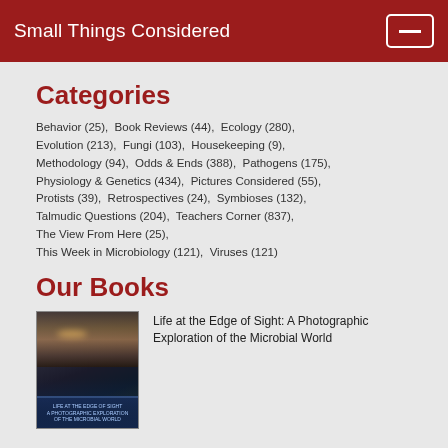Small Things Considered
Categories
Behavior (25),  Book Reviews (44),  Ecology (280),  Evolution (213),  Fungi (103),  Housekeeping (9),  Methodology (94),  Odds & Ends (388),  Pathogens (175),  Physiology & Genetics (434),  Pictures Considered (55),  Protists (39),  Retrospectives (24),  Symbioses (132),  Talmudic Questions (204),  Teachers Corner (837),  The View From Here (25),  This Week in Microbiology (121),  Viruses (121)
Our Books
[Figure (photo): Book cover of 'Life at the Edge of Sight: A Photographic Exploration of the Microbial World' showing a dark landscape with atmospheric sky]
Life at the Edge of Sight: A Photographic Exploration of the Microbial World